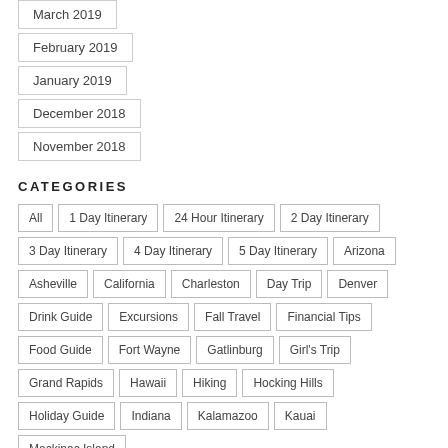March 2019
February 2019
January 2019
December 2018
November 2018
CATEGORIES
All
1 Day Itinerary
24 Hour Itinerary
2 Day Itinerary
3 Day Itinerary
4 Day Itinerary
5 Day Itinerary
Arizona
Asheville
California
Charleston
Day Trip
Denver
Drink Guide
Excursions
Fall Travel
Financial Tips
Food Guide
Fort Wayne
Gatlinburg
Girl's Trip
Grand Rapids
Hawaii
Hiking
Hocking Hills
Holiday Guide
Indiana
Kalamazoo
Kauai
Mackinac Island